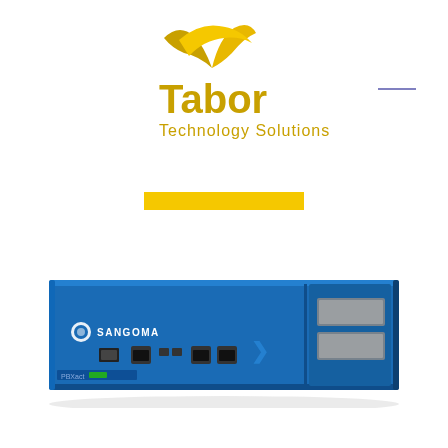[Figure (logo): Tabor Technology Solutions logo with yellow mountain/swoosh graphic and yellow text]
[Figure (photo): Sangoma PBXact appliance — a 1U rack-mounted blue server unit with front panel ports including RJ45, USB, VGA, and drive bays on the right side]